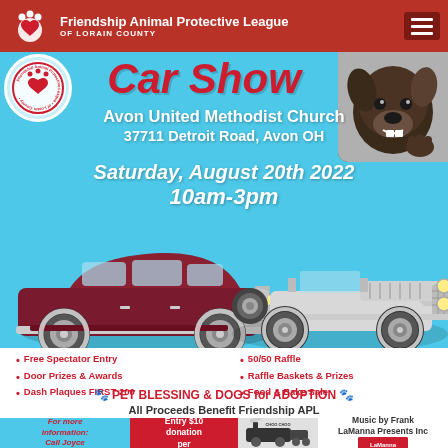Friendship Animal Protective League OF LORAIN COUNTY
Car Show
Avon United Methodist Church
37711 Detroit Road, Avon OH
Saturday, August 20th 2022
10am-3pm
[Figure (illustration): Two vintage classic cars on light blue background — a dark red/maroon 1940s sedan on the left and a silver/white 1930s vintage car on the right]
Free Spectator Entry
Door Prizes & Awards
Dash Plaques FIRST 200
50/50 Raffle
Raffle Baskets & Prizes
Food & Bake Sale
🐾 PET BLESSING & DOGS for ADOPTION 🐾
All Proceeds Benefit Friendship APL
For more information: Call Joyce
Entry $10 donation per
Music by Frank LaManna Presents Inc